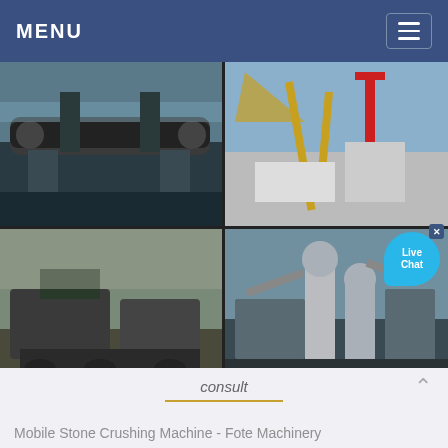MENU
[Figure (photo): Four industrial/mining equipment photos in a 2x2 grid: top-left shows a large industrial kiln or rotary drum; top-right shows a crane lifting heavy equipment at a construction/port site; bottom-left shows mobile crushing or screening equipment on a field; bottom-right shows a large stone crushing plant facility with silos and conveyors.]
Jaw Crusher|Jaw Crusher Manufacturer In Usa New Type Ston…
consult
Mobile Stone Crushing Machine - Fote Machinery